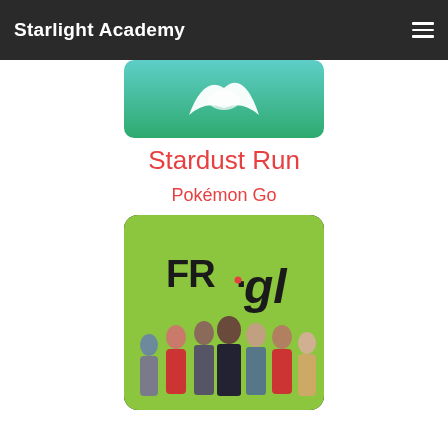Starlight Academy
[Figure (illustration): Pokemon Go app icon — teal/green background with white abstract wave/star shape]
Stardust Run
Pokémon Go
[Figure (photo): FR.gl logo on green background with cast of Glee TV show — group of young people in red/white cheerleader uniforms and casual clothing]